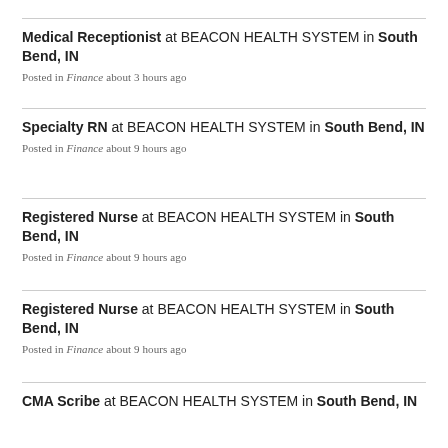Medical Receptionist at BEACON HEALTH SYSTEM in South Bend, IN — Posted in Finance about 3 hours ago
Specialty RN at BEACON HEALTH SYSTEM in South Bend, IN — Posted in Finance about 9 hours ago
Registered Nurse at BEACON HEALTH SYSTEM in South Bend, IN — Posted in Finance about 9 hours ago
Registered Nurse at BEACON HEALTH SYSTEM in South Bend, IN — Posted in Finance about 9 hours ago
CMA Scribe at BEACON HEALTH SYSTEM in South Bend, IN